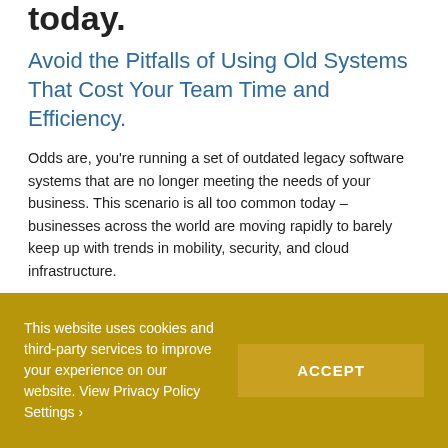today.
Avoid the Pitfalls of Using Old Systems That Cost Your Team Time and Efficiency.
Odds are, you’re running a set of outdated legacy software systems that are no longer meeting the needs of your business. This scenario is all too common today – businesses across the world are moving rapidly to barely keep up with trends in mobility, security, and cloud infrastructure.
Many systems run on older technologies that have proven their value yet are complex, expensive and
This website uses cookies and third-party services to improve your experience on our website. View Privacy Policy Settings ›
ACCEPT